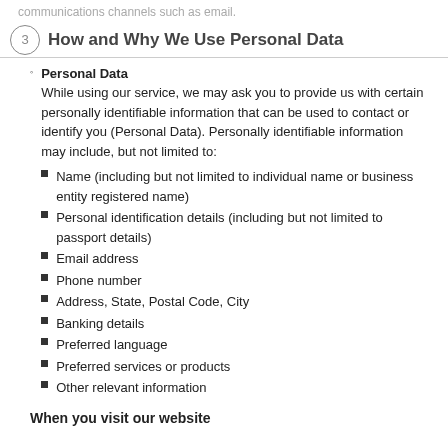communications channels such as email.
3 How and Why We Use Personal Data
Personal Data
While using our service, we may ask you to provide us with certain personally identifiable information that can be used to contact or identify you (Personal Data). Personally identifiable information may include, but not limited to:
Name (including but not limited to individual name or business entity registered name)
Personal identification details (including but not limited to passport details)
Email address
Phone number
Address, State, Postal Code, City
Banking details
Preferred language
Preferred services or products
Other relevant information
When you visit our website